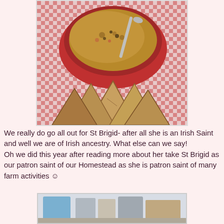[Figure (photo): A red bowl of soup/stew with a spoon on a red checkered tablecloth, with triangular slices of brown soda bread arranged in front]
We really do go all out for St Brigid- after all she is an Irish Saint and well we are of Irish ancestry. What else can we say!
Oh we did this year after reading more about her take St Brigid as our patron saint of our Homestead as she is patron saint of many farm activities ☺
[Figure (photo): Partial view of a second photo showing objects on a surface]